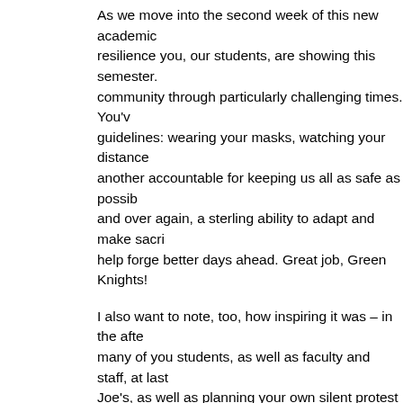As we move into the second week of this new academic year, the resilience you, our students, are showing this semester. community through particularly challenging times. You've guidelines: wearing your masks, watching your distance another accountable for keeping us all as safe as possible and over again, a sterling ability to adapt and make sacrifices help forge better days ahead. Great job, Green Knights!
I also want to note, too, how inspiring it was – in the aftermath, many of you students, as well as faculty and staff, at last Joe's, as well as planning your own silent protest in the become an anti-racist College. Amid the excitement of of us at this time, we do not shut our ears to the cry of the fellow Green Knight, to see our community lean into care.
So, week one is behind us which means instead of 94 days already seeing, from experiences here and elsewhere, that maintain do make a real difference.
I'm also happy to announce that the popular "Everyday